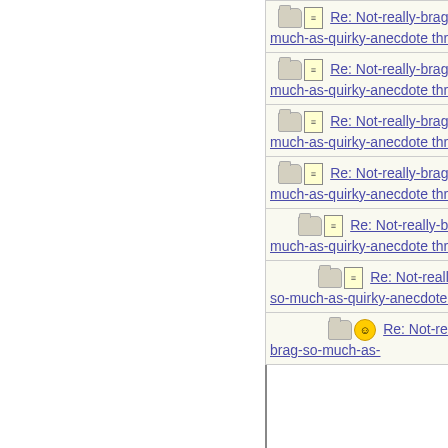| Subject | Author |
| --- | --- |
| Re: Not-really-brag-so-much-as-quirky-anecdote thread | HowlerKa |
| Re: Not-really-brag-so-much-as-quirky-anecdote thread | bobbie |
| Re: Not-really-brag-so-much-as-quirky-anecdote thread | EmeraldC |
| Re: Not-really-brag-so-much-as-quirky-anecdote thread | aquinas |
| Re: Not-really-brag-so-much-as-quirky-anecdote thread | EmeraldC |
| Re: Not-really-brag-so-much-as-quirky-anecdote thread | aquinas |
| Re: Not-really-brag-so-much-as-quirky-anecdote thread | Emeral... |